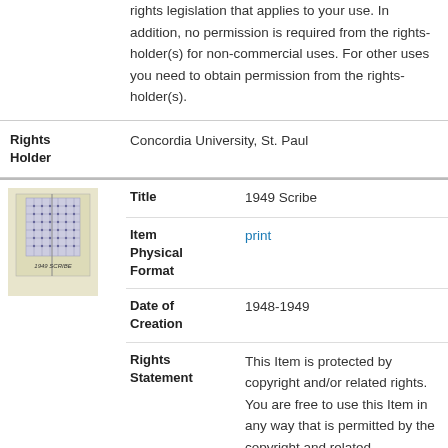rights legislation that applies to your use. In addition, no permission is required from the rights-holder(s) for non-commercial uses. For other uses you need to obtain permission from the rights-holder(s).
| Field | Value |
| --- | --- |
| Rights Holder | Concordia University, St. Paul |
| Title | 1949 Scribe |
| Item Physical Format | print |
| Date of Creation | 1948-1949 |
| Rights Statement | This Item is protected by copyright and/or related rights. You are free to use this Item in any way that is permitted by the copyright and related rights legislation that applies to your use. |
[Figure (photo): Thumbnail of 1949 Scribe book cover — a small grid/matrix pattern with text '1949 SCRIBE' below it on a light yellow-green background]
This Item is protected by copyright and/or related rights. You are free to use this Item in any way that is permitted by the copyright and related